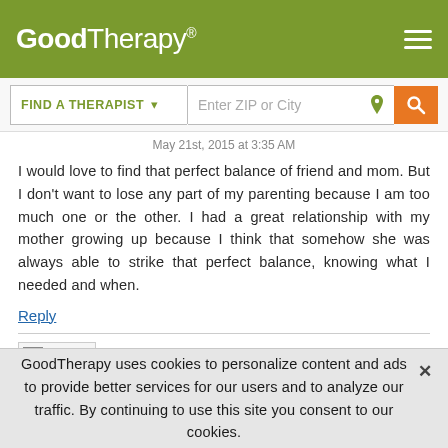GoodTherapy®
May 21st, 2015 at 3:35 AM
I would love to find that perfect balance of friend and mom. But I don't want to lose any part of my parenting because I am too much one or the other. I had a great relationship with my mother growing up because I think that somehow she was always able to strike that perfect balance, knowing what I needed and when.
Reply
Chase
GoodTherapy uses cookies to personalize content and ads to provide better services for our users and to analyze our traffic. By continuing to use this site you consent to our cookies.